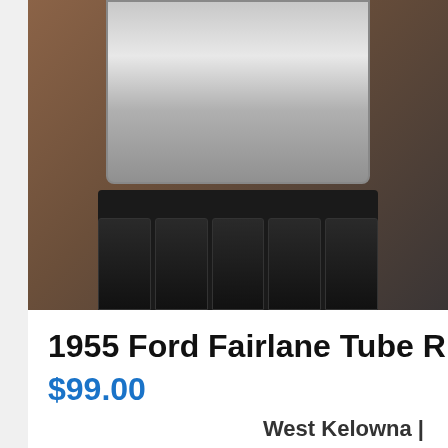[Figure (photo): Close-up photo of a 1955 Ford Fairlane tube radio or similar chrome car radio component on a brown/orange carpet background]
1955 Ford Fairlane Tube R
$99.00
West Kelowna |
[Figure (photo): Photo of a horse leg with blue strap/wrap, surrounded by green foliage and grass]